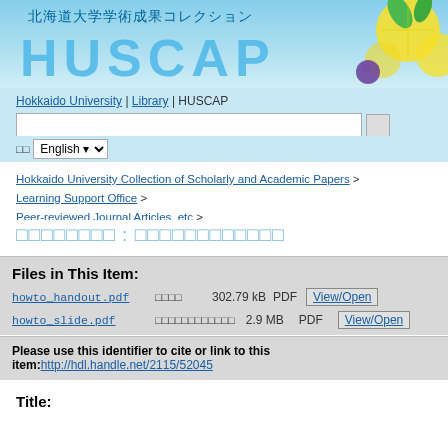[Figure (screenshot): HUSCAP (Hokkaido University Collection) header banner with Japanese text and decorative fruit/leaf graphics in blue/yellow color scheme]
Hokkaido University | Library | HUSCAP
□□ English
Hokkaido University Collection of Scholarly and Academic Papers > Learning Support Office > Peer-reviewed Journal Articles, etc >
□□□□□□□□ : □□□□□□□□□□□□
Files in This Item:
| File | Description | Size | Format |  |
| --- | --- | --- | --- | --- |
| howto_handout.pdf | □□□□ | 302.79 kB | PDF | View/Open |
| howto_slide.pdf | □□□□□□□□□□□□ | 2.9 MB | PDF | View/Open |
Please use this identifier to cite or link to this item: http://hdl.handle.net/2115/52045
Title: